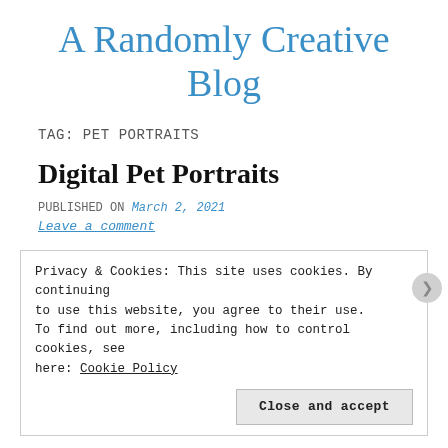A Randomly Creative Blog
TAG: PET PORTRAITS
Digital Pet Portraits
PUBLISHED ON March 2, 2021
Leave a comment
Privacy & Cookies: This site uses cookies. By continuing to use this website, you agree to their use. To find out more, including how to control cookies, see here: Cookie Policy
Close and accept